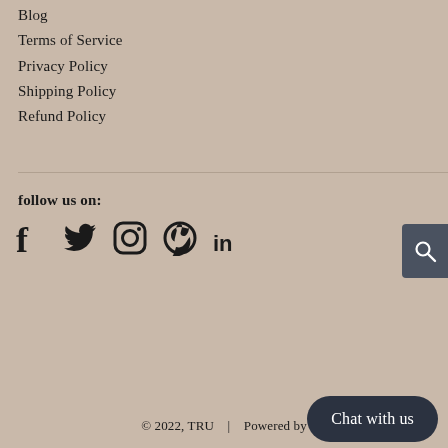Blog
Terms of Service
Privacy Policy
Shipping Policy
Refund Policy
follow us on:
[Figure (infographic): Social media icons: Facebook, Twitter, Instagram, Pinterest, LinkedIn]
© 2022, TRU   |   Powered by